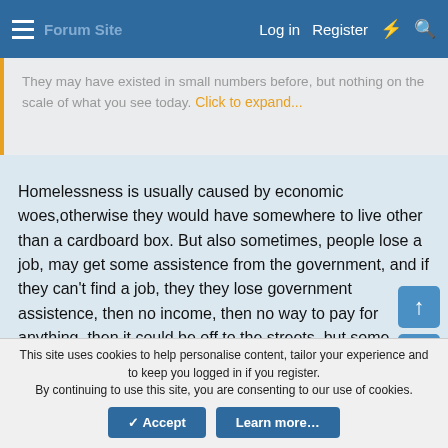Log in  Register
They may have existed in small numbers before, but nothing on the scale of what you see today.  Click to expand...
Homelessness is usually caused by economic woes,otherwise they would have somewhere to live other than a cardboard box. But also sometimes, people lose a job, may get some assistence from the government, and if they can't find a job, they they lose government assistence, then no income, then no way to pay for anything, then it could be off to the streets, but some friends or family might help.
Large numbers of homelessness existed before the 1960s, take a look at about a 10-year period called the Great Depression.
This site uses cookies to help personalise content, tailor your experience and to keep you logged in if you register.
By continuing to use this site, you are consenting to our use of cookies.